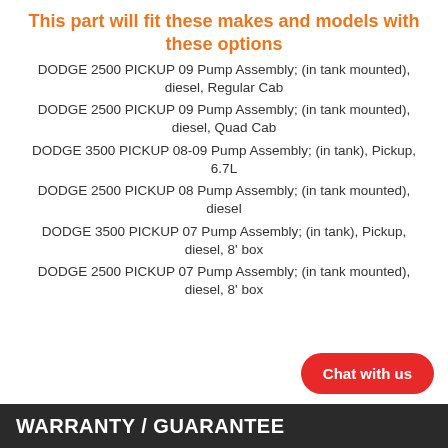This part will fit these makes and models with these options
DODGE 2500 PICKUP 09 Pump Assembly; (in tank mounted), diesel, Regular Cab
DODGE 2500 PICKUP 09 Pump Assembly; (in tank mounted), diesel, Quad Cab
DODGE 3500 PICKUP 08-09 Pump Assembly; (in tank), Pickup, 6.7L
DODGE 2500 PICKUP 08 Pump Assembly; (in tank mounted), diesel
DODGE 3500 PICKUP 07 Pump Assembly; (in tank), Pickup, diesel, 8' box
DODGE 2500 PICKUP 07 Pump Assembly; (in tank mounted), diesel, 8' box
WARRANTY / GUARANTEE